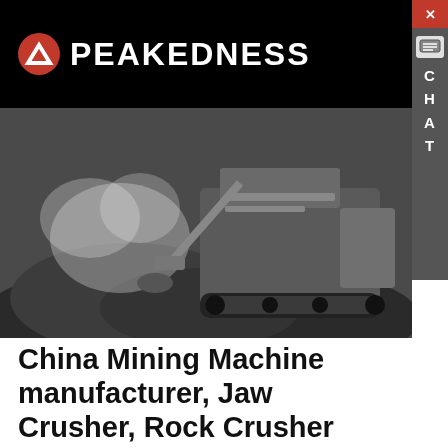PEAKEDNESS
[Figure (photo): Industrial mining machinery / rock crusher equipment on a gravel mound with dust clouds]
China Mining Machine manufacturer, Jaw Crusher, Rock Crusher
China Mining Machine supplier, Jaw Crusher, Rock Crusher Manufacturers/ Suppliers - Jiangsu Starrk Machinery Co., Ltd.
Learn More
Hey, we are live 24/7. How may I help you?